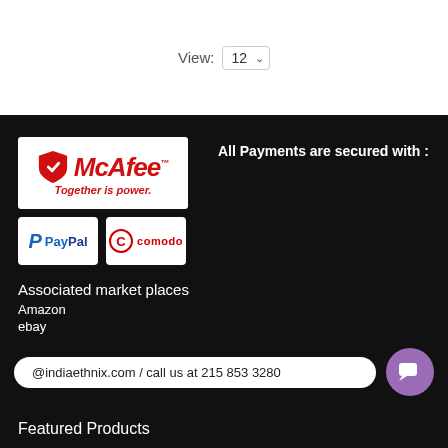View: 12
[Figure (logo): McAfee logo with shield icon and tagline 'Together is power.']
[Figure (logo): PayPal logo]
[Figure (logo): Comodo logo]
All Payments are secured with :
Associated market places
Amazon
ebay
@indiaethnix.com / call us at 215 853 3280
Featured Products